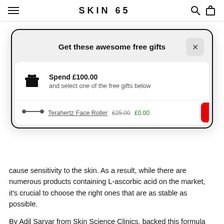SKIN 65
Get these awesome free gifts
Spend £100.00 and select one of the free gifts below
Terahertz Face Roller £25.00 £0.00
cause sensitivity to the skin. As a result, while there are numerous products containing L-ascorbic acid on the market, it's crucial to choose the right ones that are as stable as possible.
By Adil Sarvar from Skin Science Clinics, backed this formula